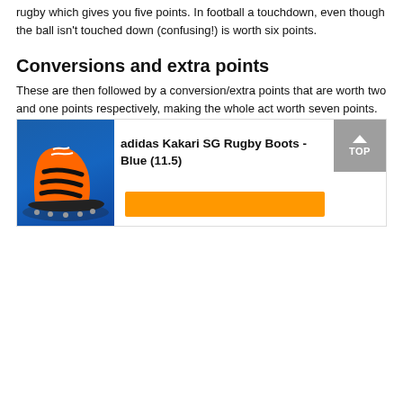rugby which gives you five points. In football a touchdown, even though the ball isn't touched down (confusing!) is worth six points.
Conversions and extra points
These are then followed by a conversion/extra points that are worth two and one points respectively, making the whole act worth seven points.
In football, unless you are a low end college team, this kick should be automatic as it is right in front of the posts. In rugby, the kick is taken anywhere the player wants on a line directly back from where the ball was put down. This means that often a player will try to 'center the ball' running to the middle before putting it down and scoring a try.
[Figure (photo): Advertisement for adidas Kakari SG Rugby Boots - Blue (11.5), showing an orange and blue rugby boot with black stripes.]